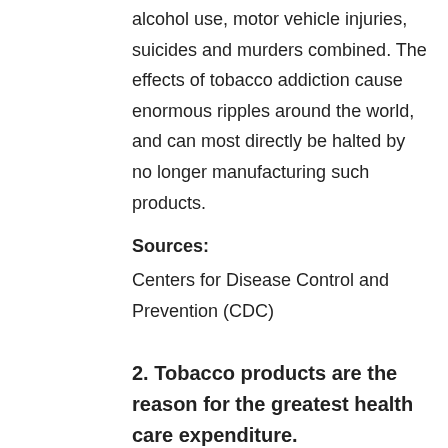alcohol use, motor vehicle injuries, suicides and murders combined. The effects of tobacco addiction cause enormous ripples around the world, and can most directly be halted by no longer manufacturing such products.
Sources:
Centers for Disease Control and Prevention (CDC)
2. Tobacco products are the reason for the greatest health care expenditure.
Warrant:
In the U.S itself, annually about 150 billion dollars are spent on taking care of various diseases caused due to smoking. Japan spends about 100 billion dollars annually of tobacco-related health issues. The entire